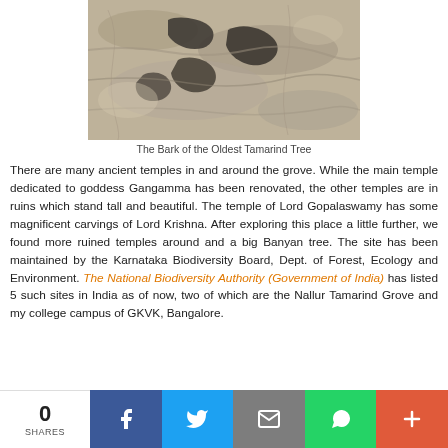[Figure (photo): Close-up photograph of the bark of the oldest Tamarind tree, showing rough textured bark with dark markings]
The Bark of the Oldest Tamarind Tree
There are many ancient temples in and around the grove. While the main temple dedicated to goddess Gangamma has been renovated, the other temples are in ruins which stand tall and beautiful. The temple of Lord Gopalaswamy has some magnificent carvings of Lord Krishna. After exploring this place a little further, we found more ruined temples around and a big Banyan tree. The site has been maintained by the Karnataka Biodiversity Board, Dept. of Forest, Ecology and Environment. The National Biodiversity Authority (Government of India) has listed 5 such sites in India as of now, two of which are the Nallur Tamarind Grove and my college campus of GKVK, Bangalore.